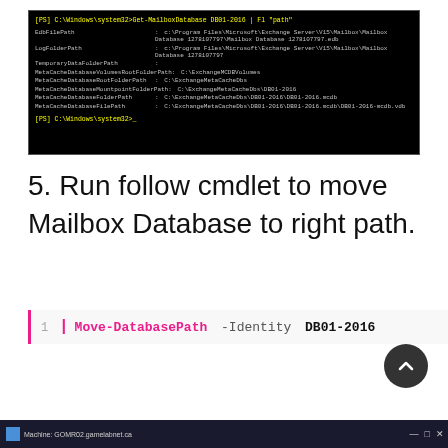[Figure (screenshot): PowerShell terminal window showing output of Get-MailboxDatabase DB01-2016 | Fl 'path' command, displaying EdbFilePath, LogFolderPath, TemporaryDataFolderPath, MetaCacheDatabaseVolumesRootFolderPath, MetaCacheDatabaseRootFolderPath, MetaCacheDatabaseMountpointFolderPath, MetaCacheDatabaseFolderPath, MetaCacheDatabaseFilePath values]
5. Run follow cmdlet to move Mailbox Database to right path.
[Figure (screenshot): Code block showing: 1 | Move-DatabasePath -Identity DB01-2016]